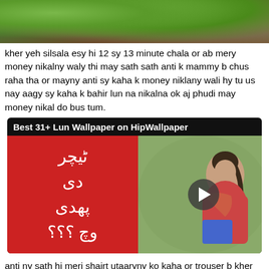[Figure (photo): Close-up photo of green leaves and brown/reddish wood surface at top of page]
kher yeh silsala esy hi 12 sy 13 minute chala or ab mery money nikalny waly thi may sath sath anti k mammy b chus raha tha or mayny anti sy kaha k money niklany wali hy tu us nay aagy sy kaha k bahir lun na nikalna ok aj phudi may money nikal do bus tum.
[Figure (screenshot): Video thumbnail card with black background titled 'Best 31+ Lun Wallpaper on HipWallpaper'. Left half is red with Urdu text, right half shows a girl. Play button in center.]
anti ny sath hi meri shairt utaaryny ko kaha or trouser b kher